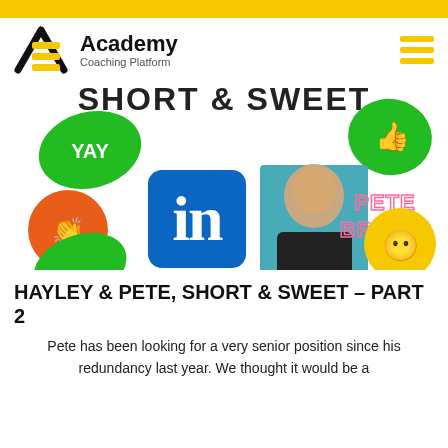Academy Coaching Platform
[Figure (illustration): Banner image for 'Hayley & Pete, Short & Sweet' podcast/blog episode featuring LinkedIn logo, photo of Pete Brown (bald man in dark suit), 'PETE BROWN' text in pink neon style, YAY sticker, thumbs up sticker, clapping hands emoji, and a winking face emoji, on white background with colorful stickers.]
HAYLEY & PETE, SHORT & SWEET – PART 2
Pete has been looking for a very senior position since his redundancy last year. We thought it would be a